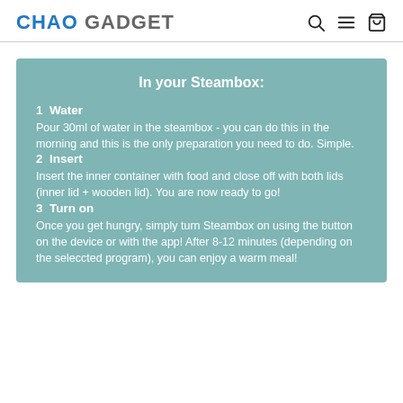CHAO GADGET
In your Steambox:
1  Water
Pour 30ml of water in the steambox - you can do this in the morning and this is the only preparation you need to do. Simple.
2  Insert
Insert the inner container with food and close off with both lids (inner lid + wooden lid). You are now ready to go!
3  Turn on
Once you get hungry, simply turn Steambox on using the button on the device or with the app! After 8-12 minutes (depending on the seleccted program), you can enjoy a warm meal!